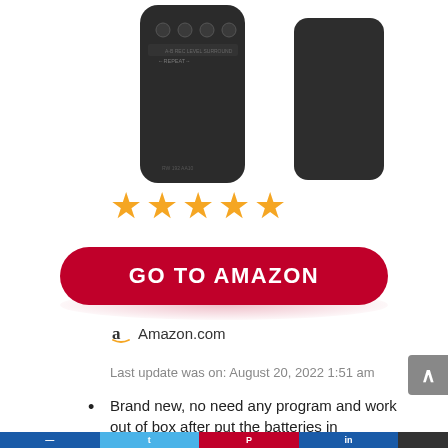[Figure (photo): Two dark/black TV remote controls shown from the front, cropped at the top of the page.]
[Figure (other): Five orange/gold star rating icons indicating a 5-star review.]
GO TO AMAZON
Amazon.com
Last update was on: August 20, 2022 1:51 am
Brand new, no need any program and work out of box after put the batteries in
RCA RCR192AA10